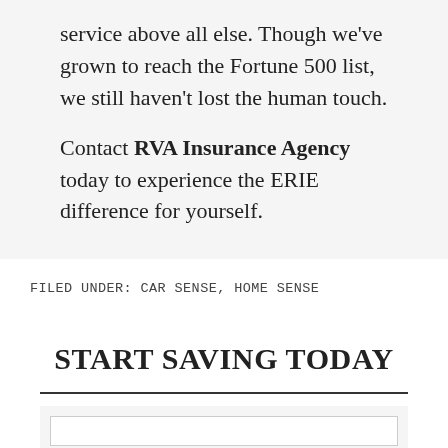service above all else. Though we've grown to reach the Fortune 500 list, we still haven't lost the human touch.
Contact RVA Insurance Agency today to experience the ERIE difference for yourself.
FILED UNDER: CAR SENSE, HOME SENSE
START SAVING TODAY